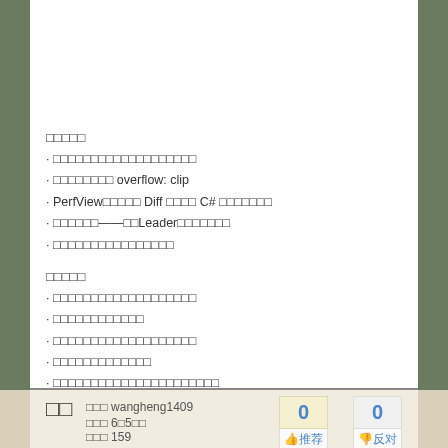□□□□□
· □□□□□□□□□□□□□□□□□□□
· □□□□□□□□ overflow: clip
· PerfView□□□□□ Diff □□□□ C# □□□□□□□
· □□□□□□——□□Leader□□□□□□□
· □□□□□□□□□□□□□□□□
□□□□□
· □□□□□□□□□□□□□□□□□□□
· □□□□□□□□□□□□
· □□□□□□□□□□□□□□□□□□□
· □□□□□□□□□□□□□
· □□□□□□□□□□□□□□□□□□□□□□
» □□□□...
□□
□□□ wangheng1409
□□□ 6□5□□
□□□ 159